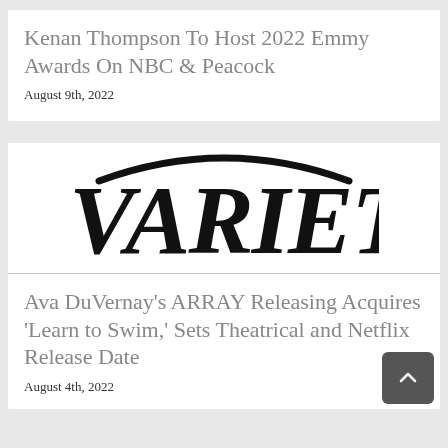Kenan Thompson To Host 2022 Emmy Awards On NBC & Peacock
August 9th, 2022
[Figure (logo): Variety magazine logo in bold black italic serif typeface with decorative arc above]
Ava DuVernay's ARRAY Releasing Acquires 'Learn to Swim,' Sets Theatrical and Netflix Release Date
August 4th, 2022